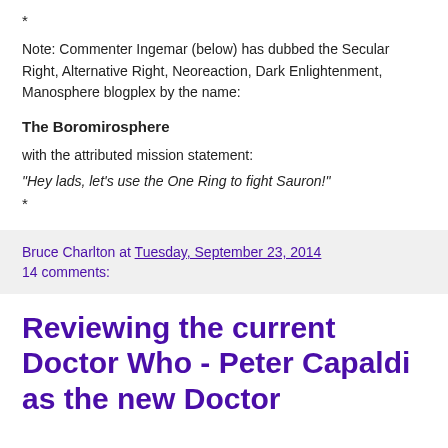*
Note: Commenter Ingemar (below) has dubbed the Secular Right, Alternative Right, Neoreaction, Dark Enlightenment, Manosphere blogplex by the name:
The Boromirosphere
with the attributed mission statement:
"Hey lads, let's use the One Ring to fight Sauron!"
*
Bruce Charlton at Tuesday, September 23, 2014
14 comments:
Reviewing the current Doctor Who - Peter Capaldi as the new Doctor